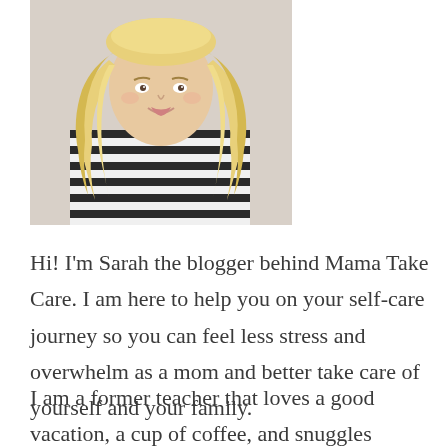[Figure (photo): A woman with long blonde wavy hair wearing a black and white striped top, photographed from the shoulders up.]
Hi! I'm Sarah the blogger behind Mama Take Care. I am here to help you on your self-care journey so you can feel less stress and overwhelm as a mom and better take care of yourself and your family.
I am a former teacher that loves a good vacation, a cup of coffee, and snuggles